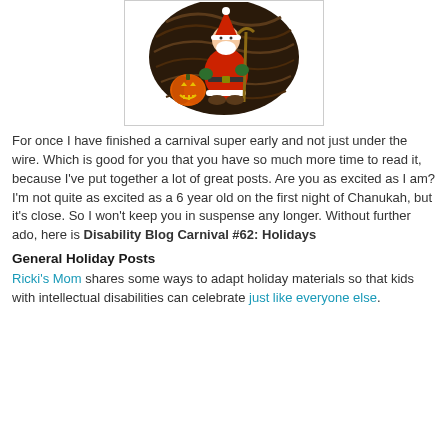[Figure (illustration): Cartoon illustration of Santa Claus dressed in red suit holding a staff, with a jack-o-lantern pumpkin beside him, emerging from a dark swirling background, inside a white bordered box.]
For once I have finished a carnival super early and not just under the wire. Which is good for you that you have so much more time to read it, because I've put together a lot of great posts. Are you as excited as I am? I'm not quite as excited as a 6 year old on the first night of Chanukah, but it's close. So I won't keep you in suspense any longer. Without further ado, here is Disability Blog Carnival #62: Holidays
General Holiday Posts
Ricki's Mom shares some ways to adapt holiday materials so that kids with intellectual disabilities can celebrate just like everyone else.